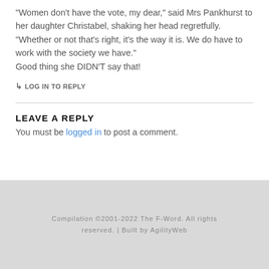“Women don’t have the vote, my dear,” said Mrs Pankhurst to her daughter Christabel, shaking her head regretfully. “Whether or not that’s right, it’s the way it is. We do have to work with the society we have.” Good thing she DIDN’T say that!
→ LOG IN TO REPLY
LEAVE A REPLY
You must be logged in to post a comment.
Compilation ©2001-2022 The F-Word. All rights reserved. | Built by AgilityWeb